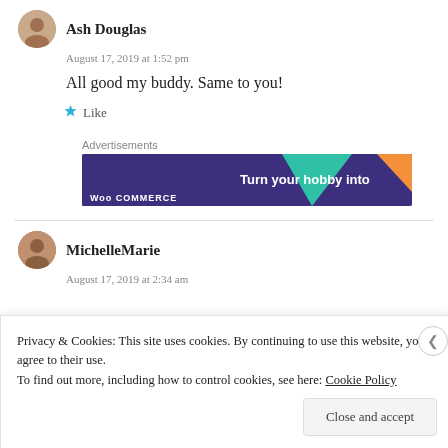Ash Douglas
August 17, 2019 at 1:52 pm
All good my buddy. Same to you!
Like
[Figure (other): WooCommerce advertisement banner: dark purple background with teal and orange geometric shapes, white text reading 'Turn your hobby into']
MichelleMarie
August 17, 2019 at 2:34 am
Privacy & Cookies: This site uses cookies. By continuing to use this website, you agree to their use. To find out more, including how to control cookies, see here: Cookie Policy
Close and accept